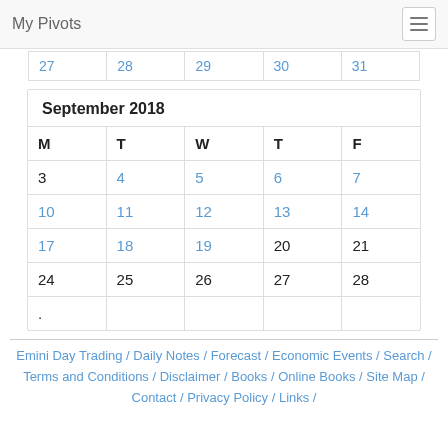My Pivots
| 27 | 28 | 29 | 30 | 31 |
| M | T | W | T | F |
| --- | --- | --- | --- | --- |
| 3 | 4 | 5 | 6 | 7 |
| 10 | 11 | 12 | 13 | 14 |
| 17 | 18 | 19 | 20 | 21 |
| 24 | 25 | 26 | 27 | 28 |
| . |  |  |  |  |
Emini Day Trading / Daily Notes / Forecast / Economic Events / Search / Terms and Conditions / Disclaimer / Books / Online Books / Site Map / Contact / Privacy Policy / Links /